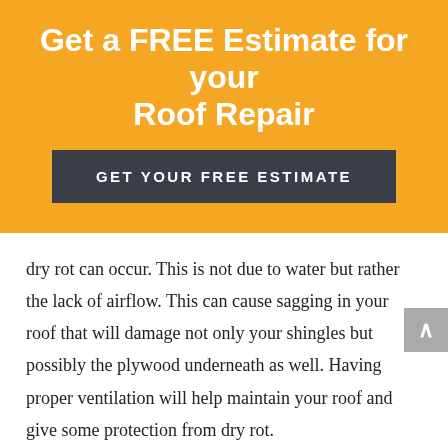Get a FREE Estimate for your Roof Repair
GET YOUR FREE ESTIMATE
dry rot can occur. This is not due to water but rather the lack of airflow. This can cause sagging in your roof that will damage not only your shingles but possibly the plywood underneath as well. Having proper ventilation will help maintain your roof and give some protection from dry rot.
Installing a Drip Edge